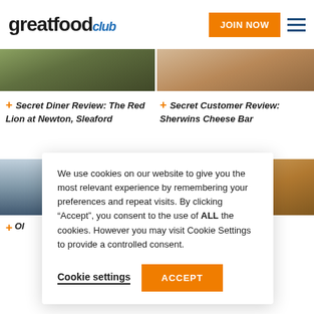greatfood club
[Figure (photo): Two food/restaurant photos side by side (top row): left shows outdoor stone setting, right shows a food/person scene]
+ Secret Diner Review: The Red Lion at Newton, Sleaford
+ Secret Customer Review: Sherwins Cheese Bar
[Figure (photo): Two food/restaurant photos side by side (bottom row): left shows building exterior, right shows interior restaurant scene]
+ Old
We use cookies on our website to give you the most relevant experience by remembering your preferences and repeat visits. By clicking "Accept", you consent to the use of ALL the cookies. However you may visit Cookie Settings to provide a controlled consent.
Cookie settings
ACCEPT